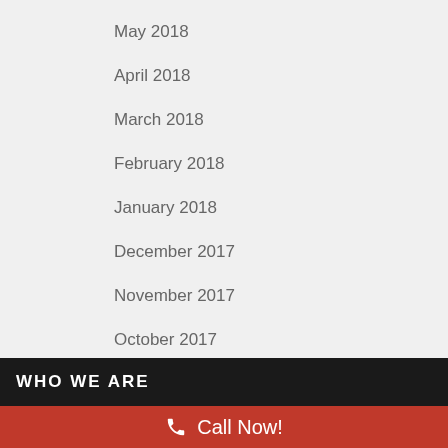May 2018
April 2018
March 2018
February 2018
January 2018
December 2017
November 2017
October 2017
September 2017
WHO WE ARE
Call Now!